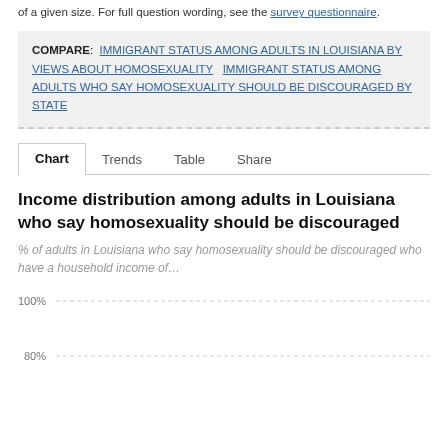of a given size. For full question wording, see the survey questionnaire.
COMPARE: IMMIGRANT STATUS AMONG ADULTS IN LOUISIANA BY VIEWS ABOUT HOMOSEXUALITY  IMMIGRANT STATUS AMONG ADULTS WHO SAY HOMOSEXUALITY SHOULD BE DISCOURAGED BY STATE
Chart  Trends  Table  Share
Income distribution among adults in Louisiana who say homosexuality should be discouraged
% of adults in Louisiana who say homosexuality should be discouraged who have a household income of...
[Figure (bar-chart): Partial bar chart visible showing y-axis with 100% and 80% gridlines]